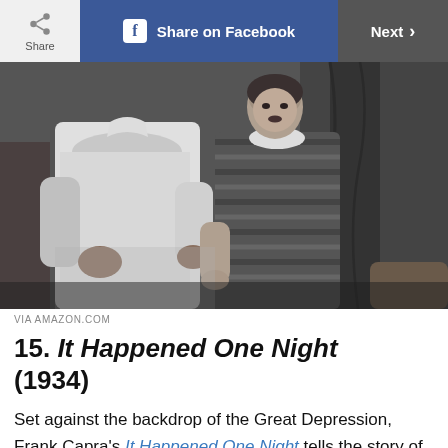Share | Share on Facebook | Next
[Figure (photo): Black and white still from the 1934 film 'It Happened One Night', showing a man in a white long-sleeved shirt and a woman in a dark striped dress standing together indoors.]
VIA AMAZON.COM
15. It Happened One Night (1934)
Set against the backdrop of the Great Depression, Frank Capra's It Happened One Night tells the story of a spoiled heiress (Claudette Colbert) who